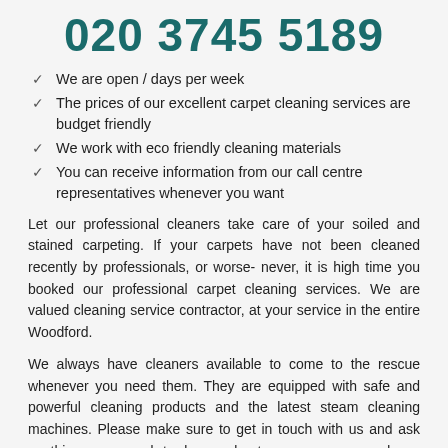020 3745 5189
We are open / days per week
The prices of our excellent carpet cleaning services are budget friendly
We work with eco friendly cleaning materials
You can receive information from our call centre representatives whenever you want
Let our professional cleaners take care of your soiled and stained carpeting. If your carpets have not been cleaned recently by professionals, or worse- never, it is high time you booked our professional carpet cleaning services. We are valued cleaning service contractor, at your service in the entire Woodford.
We always have cleaners available to come to the rescue whenever you need them. They are equipped with safe and powerful cleaning products and the latest steam cleaning machines. Please make sure to get in touch with us and ask anything you need to know about our company and our services.
We used the services of your company to restore the clean...